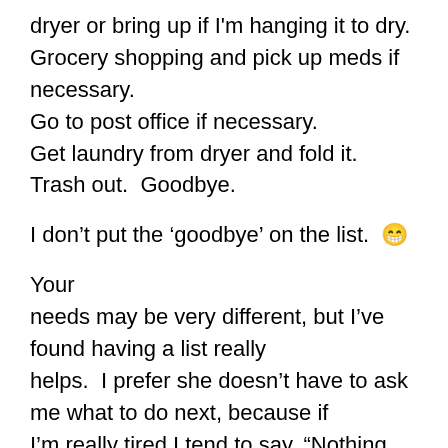dryer or bring up if I'm hanging it to dry.
Grocery shopping and pick up meds if necessary.
Go to post office if necessary.
Get laundry from dryer and fold it.
Trash out.  Goodbye.
I don't put the ‘goodbye’ on the list. 😁
Your
needs may be very different, but I’ve found having a list really
helps.  I prefer she doesn’t have to ask me what to do next, because if
I’m really tired I tend to say, “Nothing.  Just go home now.” If I’m
having brain-fog, I can’t think what needs to be done so I tend to say